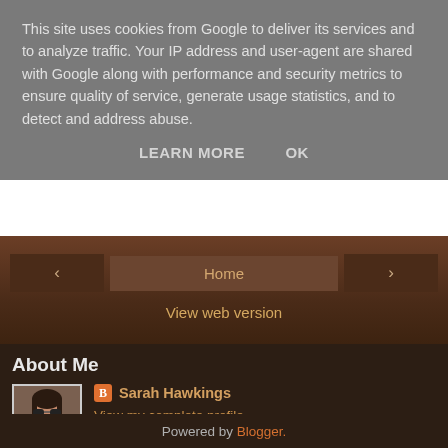This site uses cookies from Google to deliver its services and to analyze traffic. Your IP address and user-agent are shared with Google along with performance and security metrics to ensure quality of service, generate usage statistics, and to detect and address abuse.
LEARN MORE   OK
[Figure (screenshot): Navigation bar with left arrow button, Home button, right arrow button, and View web version link on brown background]
About Me
[Figure (photo): Profile photo of Sarah Hawkings, woman with dark hair and sunglasses]
Sarah Hawkings
View my complete profile
Powered by Blogger.